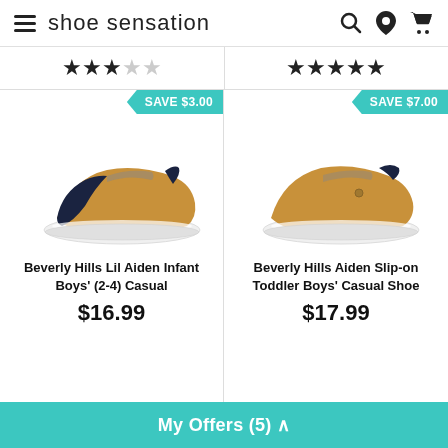Shoe Sensation
[Figure (illustration): 3 filled stars and 2 empty stars rating (left product)]
[Figure (illustration): 5 filled stars rating (right product)]
[Figure (photo): Beverly Hills Lil Aiden Infant Boys (2-4) Casual shoe - navy and tan slip-on with white sole. SAVE $3.00 badge.]
[Figure (photo): Beverly Hills Aiden Slip-on Toddler Boys Casual Shoe - tan slip-on with white sole. SAVE $7.00 badge.]
Beverly Hills Lil Aiden Infant Boys' (2-4) Casual
$16.99
Beverly Hills Aiden Slip-on Toddler Boys' Casual Shoe
$17.99
My Offers (5)